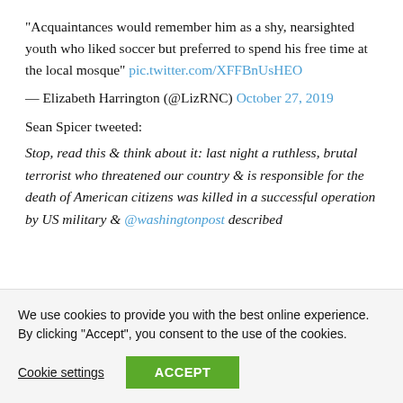"Acquaintances would remember him as a shy, nearsighted youth who liked soccer but preferred to spend his free time at the local mosque" pic.twitter.com/XFFBnUsHEO
— Elizabeth Harrington (@LizRNC) October 27, 2019
Sean Spicer tweeted:
Stop, read this & think about it: last night a ruthless, brutal terrorist who threatened our country & is responsible for the death of American citizens was killed in a successful operation by US military & @washingtonpost described
We use cookies to provide you with the best online experience. By clicking "Accept", you consent to the use of the cookies.
Cookie settings  ACCEPT